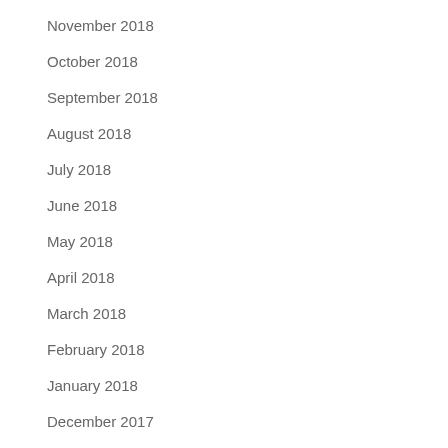November 2018
October 2018
September 2018
August 2018
July 2018
June 2018
May 2018
April 2018
March 2018
February 2018
January 2018
December 2017
November 2017
September 2017
August 2017